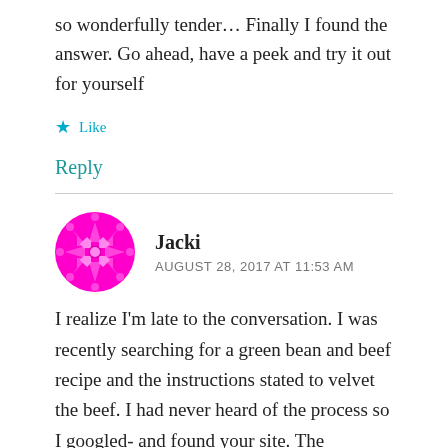so wonderfully tender… Finally I found the answer. Go ahead, have a peek and try it out for yourself
★ Like
Reply
Jacki
AUGUST 28, 2017 AT 11:53 AM
I realize I'm late to the conversation. I was recently searching for a green bean and beef recipe and the instructions stated to velvet the beef. I had never heard of the process so I googled- and found your site. The previous instructions stated 1/2c water and 2T baking soda (I know I did a double take also)- I have a line on this page continues off the bottom...